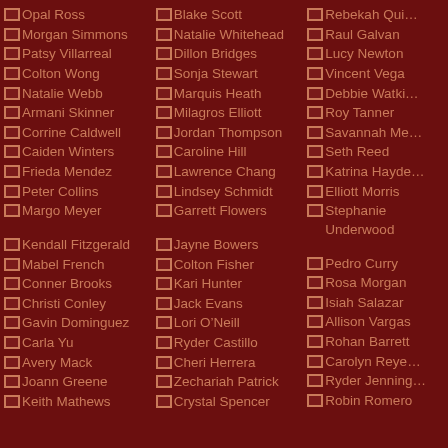Opal Ross
Morgan Simmons
Patsy Villarreal
Colton Wong
Natalie Webb
Armani Skinner
Corrine Caldwell
Caiden Winters
Frieda Mendez
Peter Collins
Margo Meyer
Kendall Fitzgerald
Mabel French
Conner Brooks
Christi Conley
Gavin Dominguez
Carla Yu
Avery Mack
Joann Greene
Keith Mathews
Blake Scott
Natalie Whitehead
Dillon Bridges
Sonja Stewart
Marquis Heath
Milagros Elliott
Jordan Thompson
Caroline Hill
Lawrence Chang
Lindsey Schmidt
Garrett Flowers
Jayne Bowers
Colton Fisher
Kari Hunter
Jack Evans
Lori O’Neill
Ryder Castillo
Cheri Herrera
Zechariah Patrick
Crystal Spencer
Rebekah Qui...
Raul Galvan
Lucy Newton
Vincent Vega
Debbie Watki...
Roy Tanner
Savannah Me...
Seth Reed
Katrina Hayde...
Elliott Morris
Stephanie Underwood
Pedro Curry
Rosa Morgan
Isiah Salazar
Allison Vargas
Rohan Barrett
Carolyn Reye...
Ryder Jenning...
Robin Romero